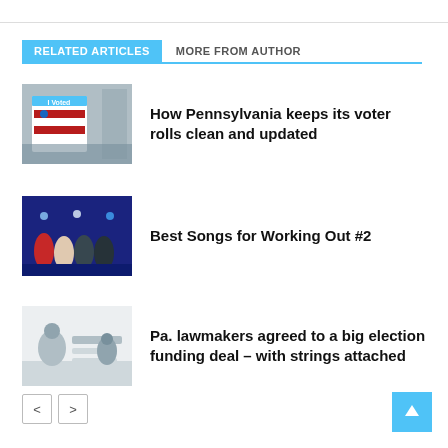RELATED ARTICLES
MORE FROM AUTHOR
[Figure (photo): I Voted sticker with American flag near polling booth]
How Pennsylvania keeps its voter rolls clean and updated
[Figure (photo): Group of people standing on stage with blue lights]
Best Songs for Working Out #2
[Figure (photo): People working in an office or counting facility]
Pa. lawmakers agreed to a big election funding deal – with strings attached